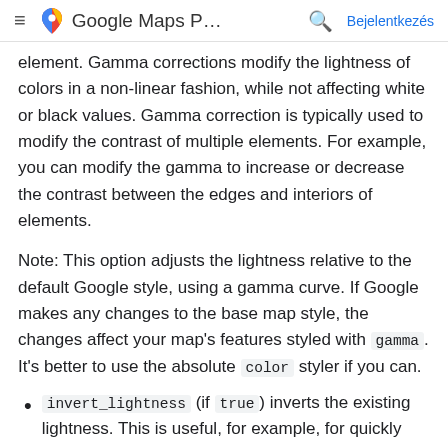≡  Google Maps P…  🔍  Bejelentkezés
element. Gamma corrections modify the lightness of colors in a non-linear fashion, while not affecting white or black values. Gamma correction is typically used to modify the contrast of multiple elements. For example, you can modify the gamma to increase or decrease the contrast between the edges and interiors of elements.
Note: This option adjusts the lightness relative to the default Google style, using a gamma curve. If Google makes any changes to the base map style, the changes affect your map's features styled with gamma. It's better to use the absolute color styler if you can.
invert_lightness (if true) inverts the existing lightness. This is useful, for example, for quickly switching to dark base maps with white text.